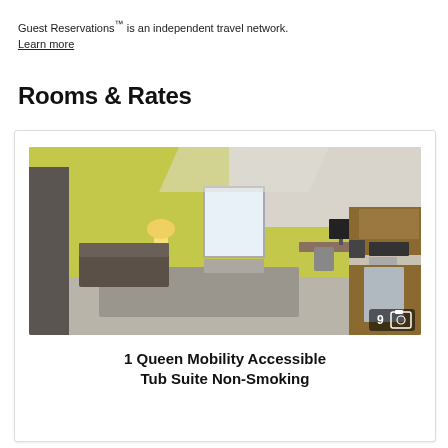Guest Reservations™ is an independent travel network.
Learn more
Rooms & Rates
[Figure (photo): Hotel suite interior showing a room with yellow-green accent walls, a work desk with computer, bedside area with lamp, and kitchenette with wood cabinets, sink, and appliances. Image counter shows 9 photos.]
1 Queen Mobility Accessible Tub Suite Non-Smoking